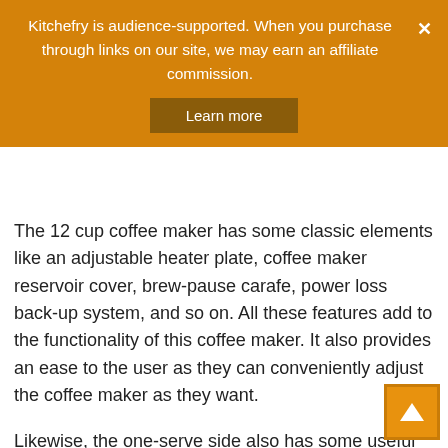Kitchefry is audience-supported. When you purchase through links on our site, we may earn an affiliate commission. Learn more
The 12 cup coffee maker has some classic elements like an adjustable heater plate, coffee maker reservoir cover, brew-pause carafe, power loss back-up system, and so on. All these features add to the functionality of this coffee maker. It also provides an ease to the user as they can conveniently adjust the coffee maker as they want.
Likewise, the one-serve side also has some useful features like the control panel, reservoir lid, removable drip tray plate, removable drip tray brewing chamber, etc. All these features help in making your desired taste. You just have to adjust these features correctly to achieve your desired goal.